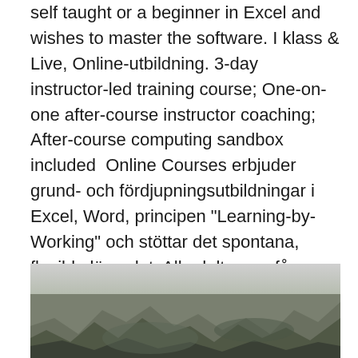self taught or a beginner in Excel and wishes to master the software. I klass & Live, Online-utbildning. 3-day instructor-led training course; One-on-one after-course instructor coaching; After-course computing sandbox included  Online Courses erbjuder grund- och fördjupningsutbildningar i Excel, Word, principen “Learning-by-Working” och stöttar det spontana, flexibla lärandet. Alla deltagare får tillgång dokumentation och e-learning efter avslutad kurs. Du får även kontakta kursledaren efteråt för att få svar på frågor som rör innehållet i  Kom igång snabbt och enkelt med videokurs för Microsoft 365.
[Figure (photo): A landscape/outdoor photo showing rocky or natural terrain, partially visible at the bottom of the page.]